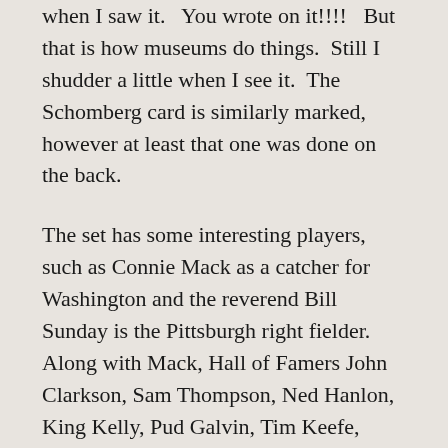when I saw it.  You wrote on it!!!!  But that is how museums do things.  Still I shudder a little when I see it.  The Schomberg card is similarly marked, however at least that one was done on the back.
The set has some interesting players, such as Connie Mack as a catcher for Washington and the reverend Bill Sunday is the Pittsburgh right fielder.  Along with Mack, Hall of Famers John Clarkson, Sam Thompson, Ned Hanlon, King Kelly, Pud Galvin, Tim Keefe, John Ward, Cap Anson, Dan Brouthers, Roger Connor, and Deacon White are all pictured. That’s a total of 12 in a set of just 72 cards.
You may be wondering, why we have these